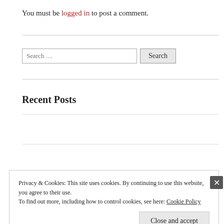You must be logged in to post a comment.
Search …
Recent Posts
2022 WWE Prizm Hanger Pack
2021 Panini Rookies and Stars Cereal box
Privacy & Cookies: This site uses cookies. By continuing to use this website, you agree to their use.
To find out more, including how to control cookies, see here: Cookie Policy
Close and accept